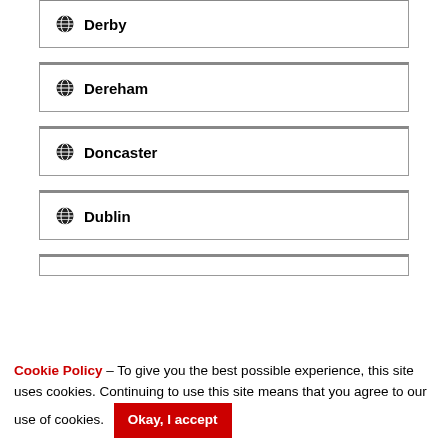Derby
Dereham
Doncaster
Dublin
Cookie Policy – To give you the best possible experience, this site uses cookies. Continuing to use this site means that you agree to our use of cookies. Okay, I accept